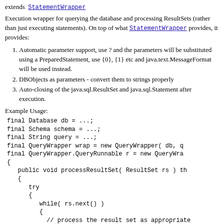extends StatementWrapper
Execution wrapper for querying the database and processing ResultSets (rather than just executing statements). On top of what StatementWrapper provides, it provides:
Automatic parameter support, use ? and the parameters will be substituted using a PreparedStatement, use {0}, {1} etc and java.text.MessageFormat will be used instead.
DBObjects as parameters - convert them to strings properly
Auto-closing of the java.sql.ResultSet and java.sql.Statement after execution.
Example Usage:
final Database db = ...;
final Schema schema = ...;
final String query = ...;
final QueryWrapper wrap = new QueryWrapper( db, q
final QueryWrapper.QueryRunnable r = new QueryWra
{
   public void processResultSet( ResultSet rs ) th
   {
      try
      {
         while( rs.next() )
         {
           // process the result set as appropriate
         }